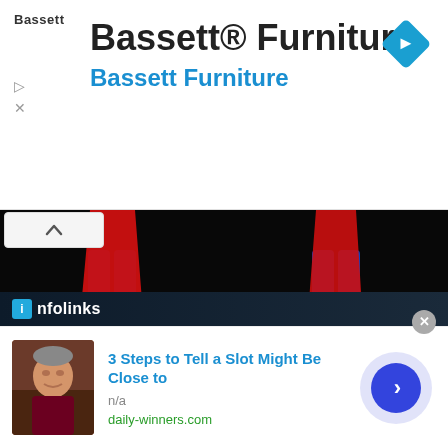[Figure (screenshot): Bassett Furniture advertisement banner with logo, title text 'Bassett® Furniture', subtitle 'Bassett Furniture' in blue, and a blue diamond navigation icon on the right. Small play and close icons on the left.]
[Figure (photo): Four-panel photo grid showing Superman collectible statue and figure from different angles. Top two panels show close-up of Superman statue base with cape and S-shield emblem on a dark pedestal with candles. Bottom two panels show a Superman figure from front (showing S logo on chest) and from the back (showing S logo on red cape). Iron Studios branded imagery.]
[Figure (screenshot): Infolinks advertisement bar with dark background and 'infolinks' logo text]
[Figure (screenshot): Advertisement card at bottom showing a man's photo on the left, title '3 Steps to Tell a Slot Might Be Close to', source 'n/a', URL 'daily-winners.com', and a blue circular play/next button on the right. Close X button in top right corner.]
3 Steps to Tell a Slot Might Be Close to
n/a
daily-winners.com